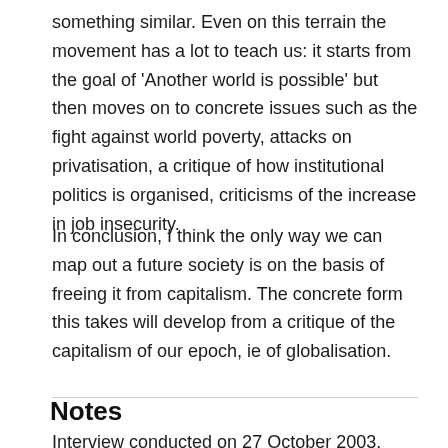something similar. Even on this terrain the movement has a lot to teach us: it starts from the goal of 'Another world is possible' but then moves on to concrete issues such as the fight against world poverty, attacks on privatisation, a critique of how institutional politics is organised, criticisms of the increase in job insecurity.
In conclusion, I think the only way we can map out a future society is on the basis of freeing it from capitalism. The concrete form this takes will develop from a critique of the capitalism of our epoch, ie of globalisation.
Notes
Interview conducted on 27 October 2003. Translated and annotated by Tom Behan.